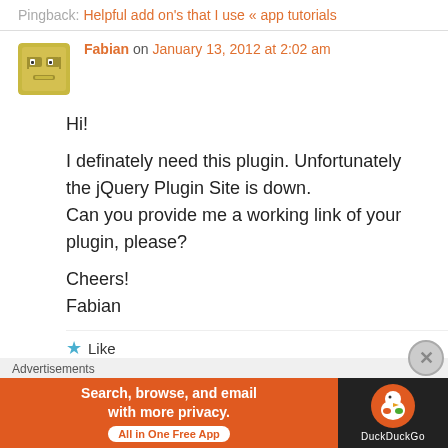Pingback: Helpful add on's that I use « app tutorials
Fabian on January 13, 2012 at 2:02 am
Hi!

I definately need this plugin. Unfortunately the jQuery Plugin Site is down.
Can you provide me a working link of your plugin, please?

Cheers!
Fabian
★ Like
Advertisements
[Figure (infographic): DuckDuckGo advertisement banner: orange left section with text 'Search, browse, and email with more privacy. All in One Free App' and dark right section with DuckDuckGo duck logo and text 'DuckDuckGo']